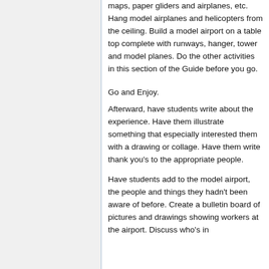maps, paper gliders and airplanes, etc. Hang model airplanes and helicopters from the ceiling. Build a model airport on a table top complete with runways, hanger, tower and model planes. Do the other activities in this section of the Guide before you go.
Go and Enjoy.
Afterward, have students write about the experience. Have them illustrate something that especially interested them with a drawing or collage. Have them write thank you's to the appropriate people.
Have students add to the model airport, the people and things they hadn't been aware of before. Create a bulletin board of pictures and drawings showing workers at the airport. Discuss who's in